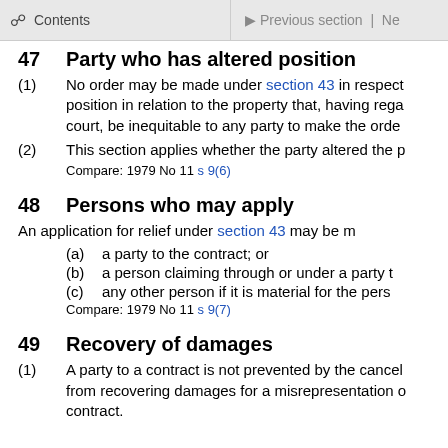Contents | Previous section | Ne
47 Party who has altered position
(1) No order may be made under section 43 in respect of a party who has so altered their position in relation to the property that, having regard to all circumstances it would, in the opinion of the court, be inequitable to any party to make the order.
(2) This section applies whether the party altered the p
Compare: 1979 No 11 s 9(6)
48 Persons who may apply
An application for relief under section 43 may be m
(a) a party to the contract; or
(b) a person claiming through or under a party t
(c) any other person if it is material for the pers
Compare: 1979 No 11 s 9(7)
49 Recovery of damages
(1) A party to a contract is not prevented by the cancel from recovering damages for a misrepresentation o contract.